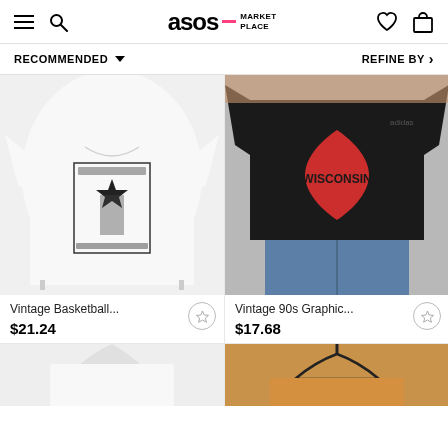ASOS MARKETPLACE
RECOMMENDED ▼   REFINE BY ›
[Figure (photo): White graphic t-shirt with black star and illustrated print reading KOYKAONZA laid flat on white background]
Vintage Basketball...
$21.24
[Figure (photo): Model wearing black Adidas t-shirt with red Wisconsin heart graphic, paired with blue denim shorts]
Vintage 90s Graphic...
$17.68
[Figure (photo): Partial view of white clothing item on hanger with light gray background]
[Figure (photo): Partial view of mustard/yellow garment on black hanger]